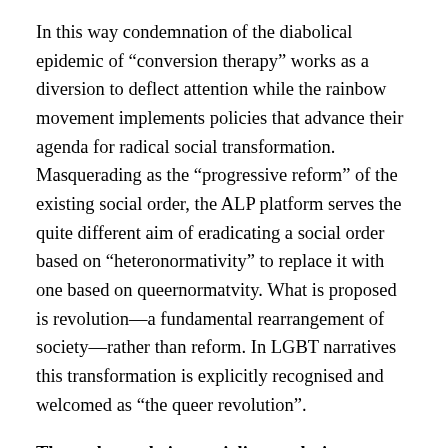In this way condemnation of the diabolical epidemic of “conversion therapy” works as a diversion to deflect attention while the rainbow movement implements policies that advance their agenda for radical social transformation. Masquerading as the “progressive reform” of the existing social order, the ALP platform serves the quite different aim of eradicating a social order based on “heteronormativity” to replace it with one based on queernormatvity. What is proposed is revolution—a fundamental rearrangement of society—rather than reform. In LGBT narratives this transformation is explicitly recognised and welcomed as “the queer revolution”.
The real agenda is a socialist revolution